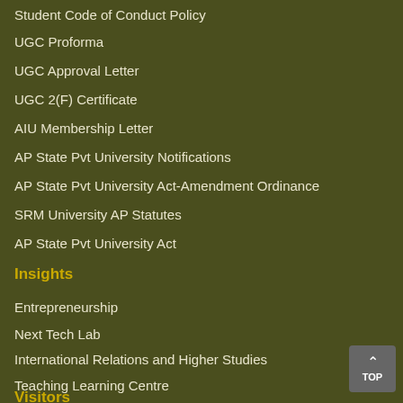Student Code of Conduct Policy
UGC Proforma
UGC Approval Letter
UGC 2(F) Certificate
AIU Membership Letter
AP State Pvt University Notifications
AP State Pvt University Act-Amendment Ordinance
SRM University AP Statutes
AP State Pvt University Act
Insights
Entrepreneurship
Next Tech Lab
International Relations and Higher Studies
Teaching Learning Centre
Visitors